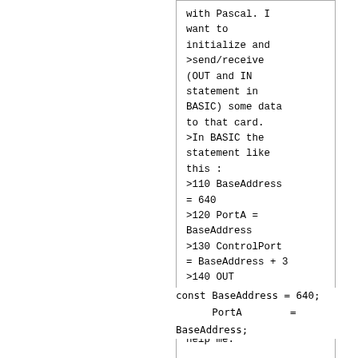with Pascal. I want to initialize and >send/receive (OUT and IN statement in BASIC) some data to that card. >In BASIC the statement like this : >110 BaseAddress = 640 >120 PortA = BaseAddress >130 ControlPort = BaseAddress + 3 >140 OUT ControlPort, 128 >150 OUT PortA, 1 >I hope anyone help me.
const BaseAddress = 640;
      PortA        =
BaseAddress;